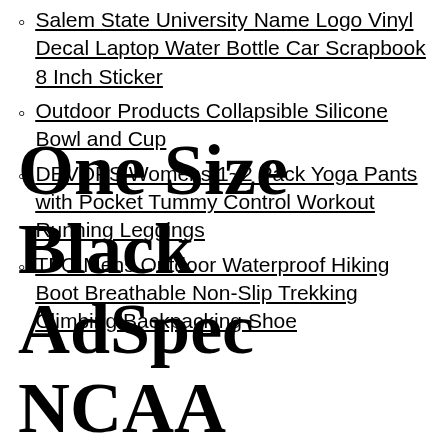Salem State University Name Logo Vinyl Decal Laptop Water Bottle Car Scrapbook 8 Inch Sticker
Outdoor Products Collapsible Silicone Bowl and Cup
DEVOPS Womens 1~2 Pack Yoga Pants with Pocket Tummy Control Workout Running Leggings
TFO Mens Outdoor Waterproof Hiking Boot Breathable Non-Slip Trekking Climbing Backpacking Shoe
One Size Black AdSpec NCAA